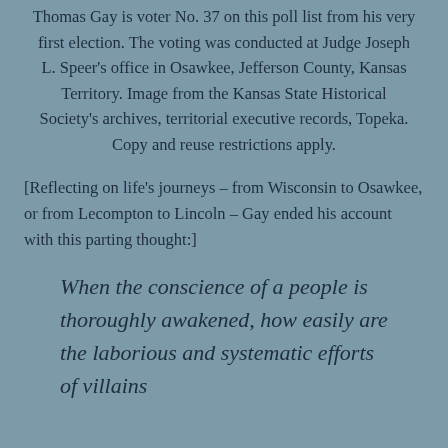Thomas Gay is voter No. 37 on this poll list from his very first election. The voting was conducted at Judge Joseph L. Speer's office in Osawkee, Jefferson County, Kansas Territory. Image from the Kansas State Historical Society's archives, territorial executive records, Topeka. Copy and reuse restrictions apply.
[Reflecting on life's journeys – from Wisconsin to Osawkee, or from Lecompton to Lincoln – Gay ended his account with this parting thought:]
When the conscience of a people is thoroughly awakened, how easily are the laborious and systematic efforts of villains